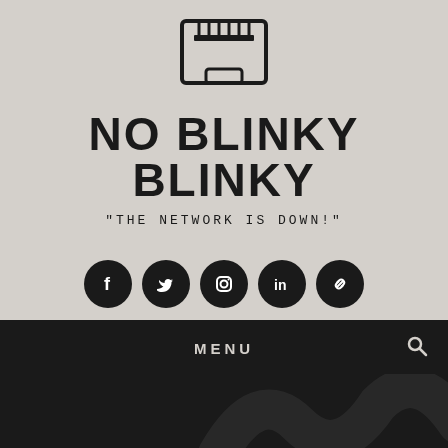[Figure (illustration): Network/ethernet port icon — a rectangular box with connector pins shown at top and a notch at the bottom, outlined in dark stroke on light gray background]
NO BLINKY BLINKY
"THE NETWORK IS DOWN!"
[Figure (infographic): Row of five circular dark social media icon buttons: Facebook (f), Twitter (bird), Instagram (camera), LinkedIn (in), and a link/chain icon]
MENU